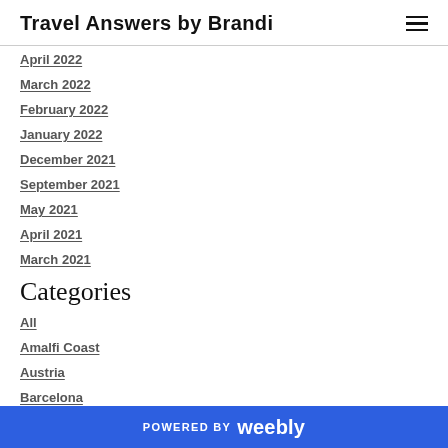Travel Answers by Brandi
April 2022
March 2022
February 2022
January 2022
December 2021
September 2021
May 2021
April 2021
March 2021
Categories
All
Amalfi Coast
Austria
Barcelona
POWERED BY weebly